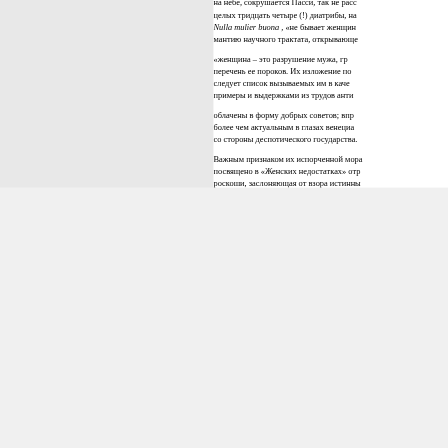на небе, сокрушается Пасси, так не расс целых тридцать четыре (!) диатрибы, на Nulla mulier buona , «не бывает женщин мантию научного трактата, открывающе «женщина – это разрушение мужа, гр перечень ее пороков. Их изложение по следует список вызываемых им в каче примеры и выдержками из трудов анти облачены в форму добрых советов; впр более чем актуальным в глазах венециа со стороны деспотического государства. Важным признаком их испорченной мора посвящено в «Женских недостатках» отр роскоши, заслоняющая от взора истинны мира: отчего бы теперь не возобновить з в море [19, с. 189]? И даже женская кр чинквеченто, удостоилась сурового пор женщин, хотя его антигероиню невозм недостатков» на ум приходит колоритны адский ландшафт, крепкими пинками ра ад совместную жизнь с кем угодно, даже женщины, что составит исключение из с позднем его сочинении «О супружеском Впрочем, и на долю мужа достается